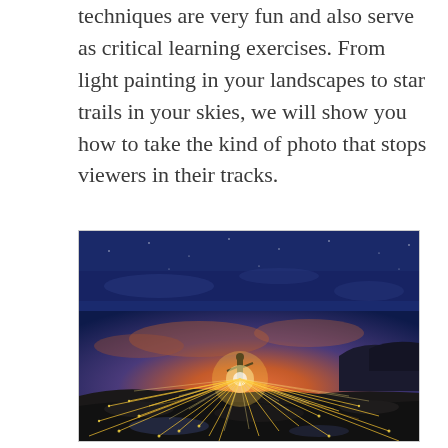techniques are very fun and also serve as critical learning exercises. From light painting in your landscapes to star trails in your skies, we will show you how to take the kind of photo that stops viewers in their tracks.
[Figure (photo): A nighttime/dusk long-exposure photograph showing a person standing on rocky terrain by the ocean, spinning steel wool creating bright radiating sparks of light in all directions, set against a vivid blue and orange twilight sky.]